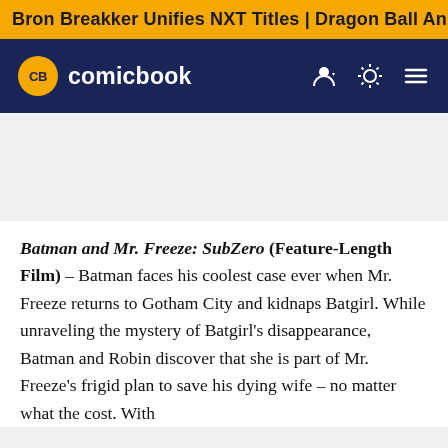Bron Breakker Unifies NXT Titles | Dragon Ball Anime Rumor
[Figure (logo): ComicBook.com logo with CB monogram in yellow circle on dark navy navigation bar]
Batman and Mr. Freeze: SubZero (Feature-Length Film) — Batman faces his coolest case ever when Mr. Freeze returns to Gotham City and kidnaps Batgirl. While unraveling the mystery of Batgirl's disappearance, Batman and Robin discover that she is part of Mr. Freeze's frigid plan to save his dying wife – no matter what the cost. With